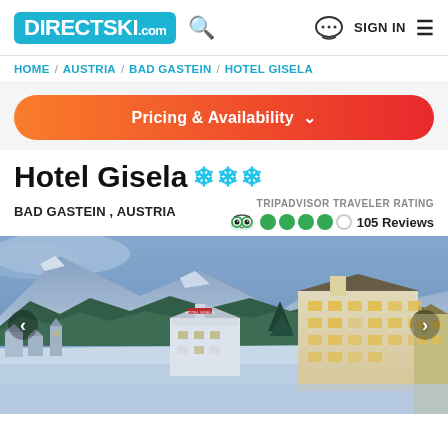DIRECTSKI.com
HOME / AUSTRIA / BAD GASTEIN / HOTEL GISELA
Pricing & Availability
Hotel Gisela ❄❄❄
BAD GASTEIN , AUSTRIA
TRIPADVISOR TRAVELER RATING
105 Reviews
[Figure (photo): Winter alpine village scene at dusk showing Hotel Gisela and surrounding snow-covered buildings with mountains and forest in background, blue twilight atmosphere]